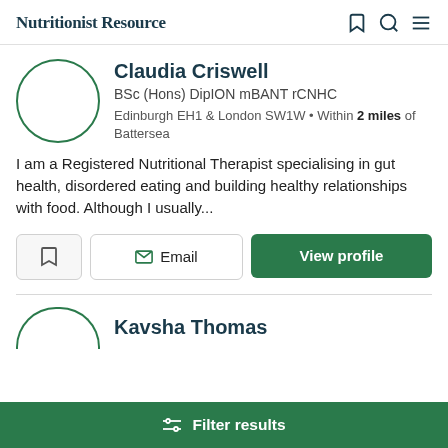Nutritionist Resource
Claudia Criswell
BSc (Hons) DipION mBANT rCNHC
Edinburgh EH1 & London SW1W • Within 2 miles of Battersea
I am a Registered Nutritional Therapist specialising in gut health, disordered eating and building healthy relationships with food. Although I usually...
Email
View profile
Kavsha Thomas
Filter results